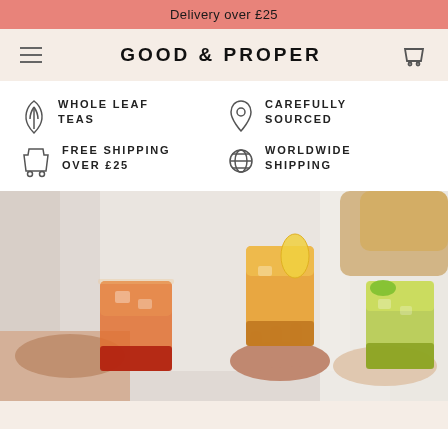Delivery over £25
GOOD & PROPER
WHOLE LEAF TEAS
CAREFULLY SOURCED
FREE SHIPPING OVER £25
WORLDWIDE SHIPPING
[Figure (photo): Three people clinking glasses containing colourful iced tea drinks — left glass has a red/orange drink, middle has an orange/yellow drink, right has a green/yellow drink.]